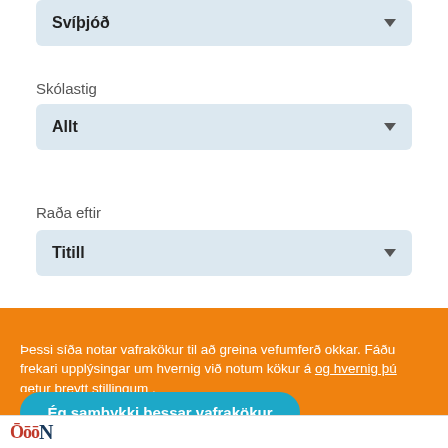Svíþjóð
Skólastig
Allt
Raða eftir
Titill
20 niðurstöður
Þessi síða notar vafrakökur til að greina vefumferð okkar. Fáðu frekari upplýsingar um hvernig við notum kökur á og hvernig þú getur breytt stillingum .
Ég samþykki þessar vafrakökur
Ég hafna þessum vafrakökum